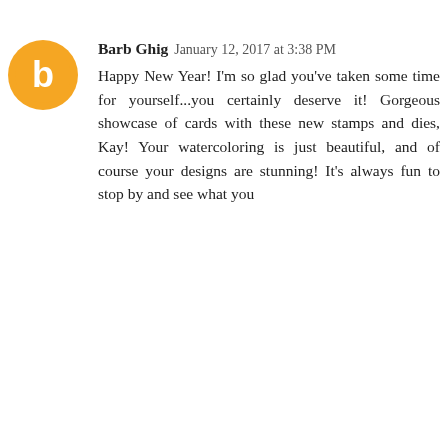Loving these beautiful cards and colorful dies, that bookmark is amazing!
Reply
Pam Sparks  January 12, 2017 at 10:35 AM
So pretty Kay! Beautiful floral colors and coloring! Thanks for the reminder to use those little sponges! I am going to remember to do this again! I have a whole case of those little finger dauber sponge things. So thankful for bloggers creating and inspiring! That's you! hehe Christmas all year... YES! Post away!
Reply
Barb Ghig  January 12, 2017 at 3:38 PM
Happy New Year! I'm so glad you've taken some time for yourself...you certainly deserve it! Gorgeous showcase of cards with these new stamps and dies, Kay! Your watercoloring is just beautiful, and of course your designs are stunning! It's always fun to stop by and see what you